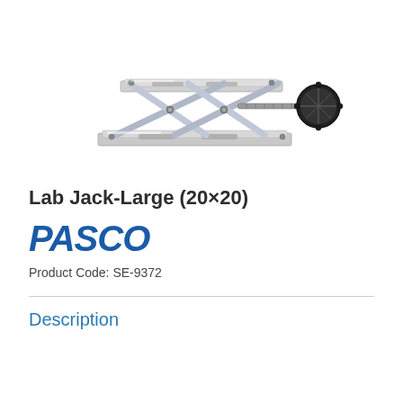[Figure (photo): A stainless steel lab jack (large, 20x20 cm) with scissor-lift mechanism and black adjustment wheel, photographed on a white background.]
Lab Jack-Large (20×20)
[Figure (logo): PASCO brand logo in bold italic blue text]
Product Code: SE-9372
Description